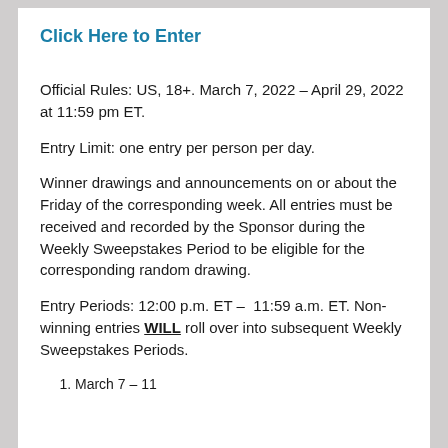Click Here to Enter
Official Rules: US, 18+. March 7, 2022 – April 29, 2022 at 11:59 pm ET.
Entry Limit: one entry per person per day.
Winner drawings and announcements on or about the Friday of the corresponding week. All entries must be received and recorded by the Sponsor during the Weekly Sweepstakes Period to be eligible for the corresponding random drawing.
Entry Periods: 12:00 p.m. ET – 11:59 a.m. ET. Non-winning entries WILL roll over into subsequent Weekly Sweepstakes Periods.
1. March 7 – 11